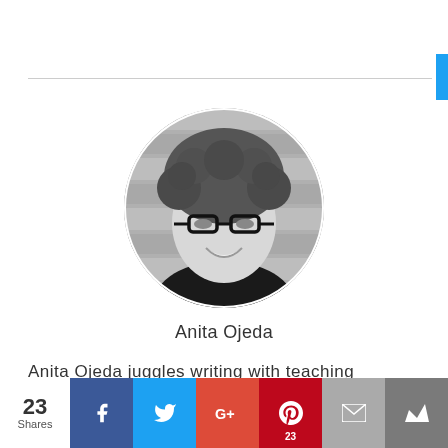[Figure (photo): Circular black and white portrait photo of Anita Ojeda, a woman with curly hair and glasses, smiling]
Anita Ojeda
Anita Ojeda juggles writing with teaching
[Figure (infographic): Social share bar with 23 Shares, Facebook, Twitter, Google+, Pinterest (23), Email, and bookmark buttons]